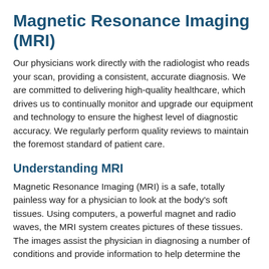Magnetic Resonance Imaging (MRI)
Our physicians work directly with the radiologist who reads your scan, providing a consistent, accurate diagnosis. We are committed to delivering high-quality healthcare, which drives us to continually monitor and upgrade our equipment and technology to ensure the highest level of diagnostic accuracy. We regularly perform quality reviews to maintain the foremost standard of patient care.
Understanding MRI
Magnetic Resonance Imaging (MRI) is a safe, totally painless way for a physician to look at the body's soft tissues. Using computers, a powerful magnet and radio waves, the MRI system creates pictures of these tissues. The images assist the physician in diagnosing a number of conditions and provide information to help determine the